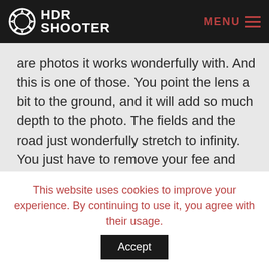HDR SHOOTER
are photos it works wonderfully with. And this is one of those. You point the lens a bit to the ground, and it will add so much depth to the photo. The fields and the road just wonderfully stretch to infinity. You just have to remove your fee and the tripod from the final shot, as you will see them for sure :)
This website uses cookies to improve your experience. By continuing to use it, you agree with their usage.